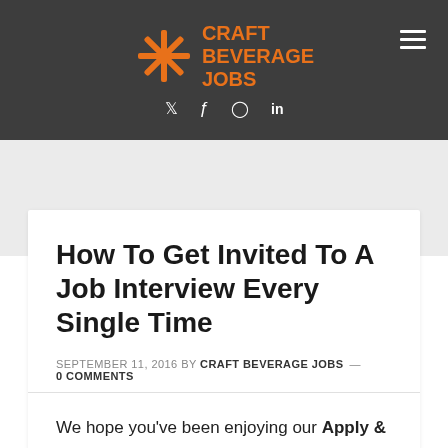CRAFT BEVERAGE JOBS
How To Get Invited To A Job Interview Every Single Time
SEPTEMBER 11, 2016 BY CRAFT BEVERAGE JOBS — 0 COMMENTS
We hope you've been enjoying our Apply &